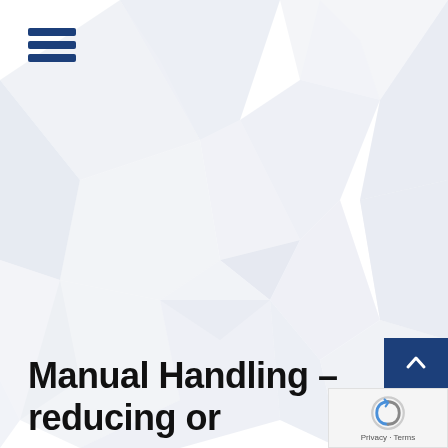[Figure (illustration): Hamburger menu icon with three dark blue horizontal bars]
[Figure (illustration): Light gray geometric polygon/triangle pattern background covering the main area of the page]
Manual Handling – reducing or eliminating risks